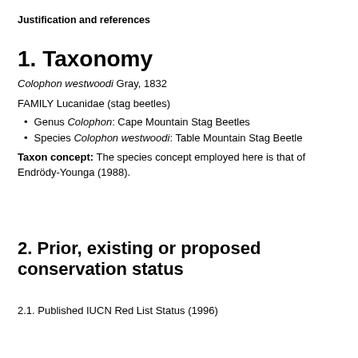Justification and references
1. Taxonomy
Colophon westwoodi Gray, 1832
FAMILY Lucanidae (stag beetles)
Genus Colophon: Cape Mountain Stag Beetles
Species Colophon westwoodi: Table Mountain Stag Beetle
Taxon concept: The species concept employed here is that of Endrödy-Younga (1988).
2. Prior, existing or proposed conservation status
2.1. Published IUCN Red List Status (1996)